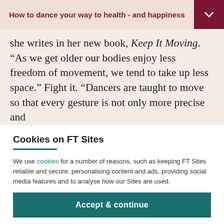How to dance your way to health - and happiness
she writes in her new book, Keep It Moving. “As we get older our bodies enjoy less freedom of movement, we tend to take up less space.” Fight it. “Dancers are taught to move so that every gesture is not only more precise and
Cookies on FT Sites
We use cookies for a number of reasons, such as keeping FT Sites reliable and secure, personalising content and ads, providing social media features and to analyse how our Sites are used.
Manage cookies
Accept & continue